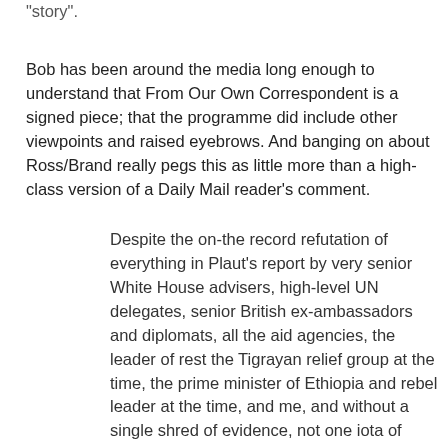“story”.
Bob has been around the media long enough to understand that From Our Own Correspondent is a signed piece; that the programme did include other viewpoints and raised eyebrows. And banging on about Ross/Brand really pegs this as little more than a high-class version of a Daily Mail reader’s comment.
Despite the on-the record refutation of everything in Plaut’s report by very senior White House advisers, high-level UN delegates, senior British ex-ambassadors and diplomats, all the aid agencies, the leader of rest the Tigrayan relief group at the time, the prime minister of Ethiopia and rebel leader at the time, and me, and without a single shred of evidence, not one iota of evidence, they cannot bear to acknowledge the grim reality, the actual truth – that they were wrong. The BBC World Service is so far off the rails it quite literally cannot recognise or acknowledge truth when it encounters it.